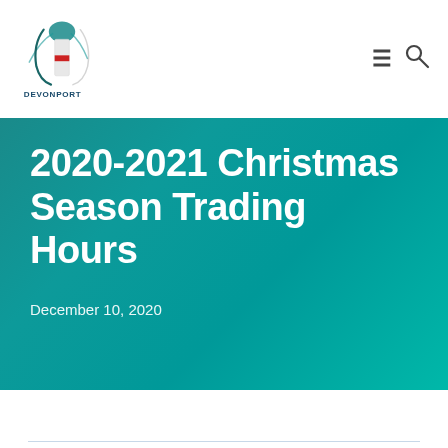Devonport logo with hamburger menu and search icon
2020-2021 Christmas Season Trading Hours
December 10, 2020